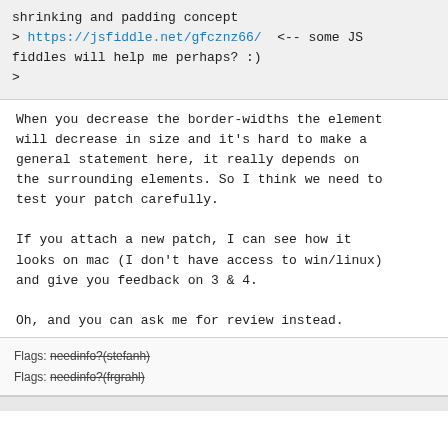shrinking and padding concept
> https://jsfiddle.net/gfcznz66/  <-- some JS fiddles will help me perhaps? :)
>
When you decrease the border-widths the element will decrease in size and it's hard to make a general statement here, it really depends on the surrounding elements. So I think we need to test your patch carefully.

If you attach a new patch, I can see how it looks on mac (I don't have access to win/linux) and give you feedback on 3 & 4.

Oh, and you can ask me for review instead.
Flags: needinfo?(stefanh)
Flags: needinfo?(frgrahl)